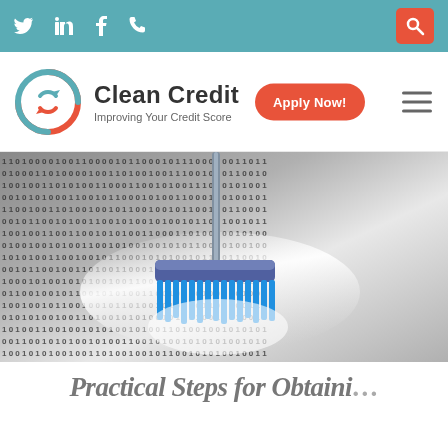Twitter | LinkedIn | Facebook | Phone | Search
[Figure (logo): Clean Credit logo with circular arrow icon in teal and red/orange colors]
Clean Credit - Improving Your Credit Score
[Figure (photo): A blue broom/brush sweeping over a surface covered with binary code (0s and 1s), representing data cleaning or credit repair]
Practical Steps for Obtaining...